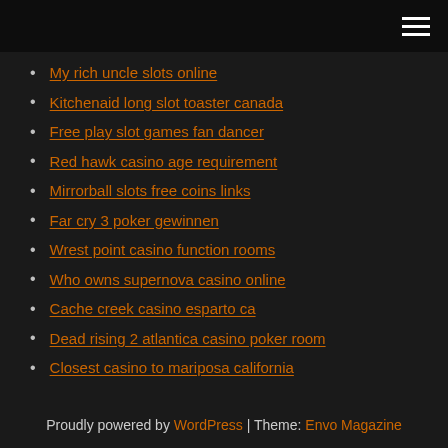[hamburger menu icon]
My rich uncle slots online
Kitchenaid long slot toaster canada
Free play slot games fan dancer
Red hawk casino age requirement
Mirrorball slots free coins links
Far cry 3 poker gewinnen
Wrest point casino function rooms
Who owns supernova casino online
Cache creek casino esparto ca
Dead rising 2 atlantica casino poker room
Closest casino to mariposa california
Proudly powered by WordPress | Theme: Envo Magazine